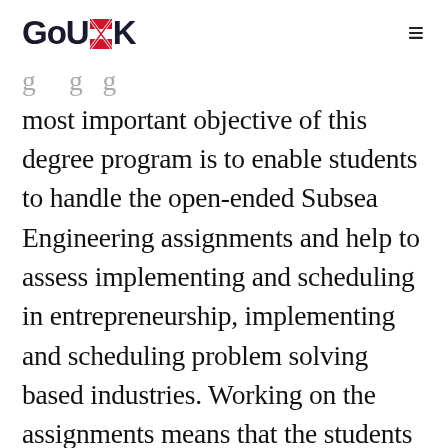GoUK
most important objective of this degree program is to enable students to handle the open-ended Subsea Engineering assignments and help to assess implementing and scheduling in entrepreneurship, implementing and scheduling problem solving based industries. Working on the assignments means that the students will have to use their Subsea Engineering and problem solving perspectives, creativity and skills obtained during the course along with